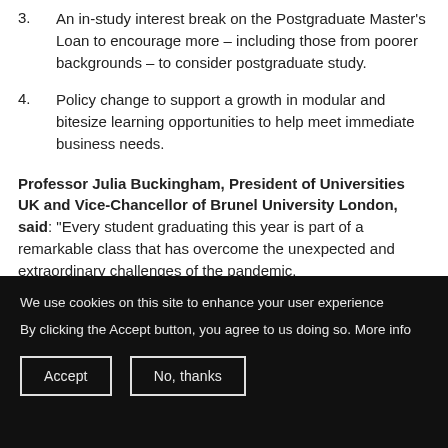3. An in-study interest break on the Postgraduate Master's Loan to encourage more – including those from poorer backgrounds – to consider postgraduate study.
4. Policy change to support a growth in modular and bitesize learning opportunities to help meet immediate business needs.
Professor Julia Buckingham, President of Universities UK and Vice-Chancellor of Brunel University London, said: "Every student graduating this year is part of a remarkable class that has overcome the unexpected and extraordinary challenges of the pandemic.
We use cookies on this site to enhance your user experience. By clicking the Accept button, you agree to us doing so. More info. [Accept] [No, thanks]